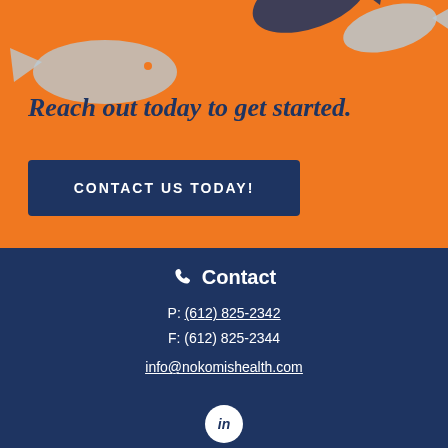[Figure (illustration): Orange background section with light blue fish silhouettes as decorative elements]
Reach out today to get started.
CONTACT US TODAY!
Contact
P: (612) 825-2342
F: (612) 825-2344
info@nokomishealth.com
[Figure (logo): LinkedIn logo circle icon in white]